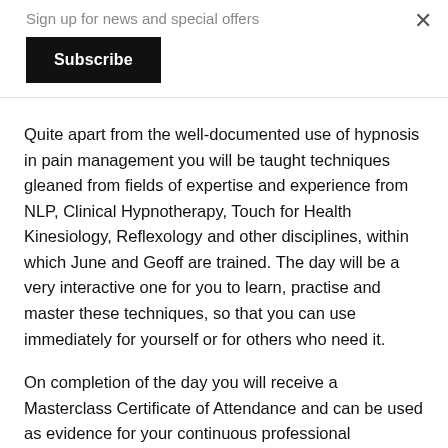Sign up for news and special offers
Subscribe
Quite apart from the well-documented use of hypnosis in pain management you will be taught techniques gleaned from fields of expertise and experience from NLP,  Clinical Hypnotherapy, Touch for Health Kinesiology,  Reflexology and other disciplines, within which June and Geoff are trained. The day will be a very interactive one for you to learn, practise and master these techniques, so that you can use immediately for yourself or for others who need it.
On completion of the day you will receive a Masterclass Certificate of Attendance and can be used as evidence for your continuous professional